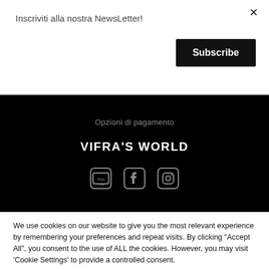Inscriviti alla nostra NewsLetter!
Subscribe
Opzioni di pagamento
VIFRA'S WORLD
[Figure (illustration): Social media icons: YouTube, Facebook, Instagram]
We use cookies on our website to give you the most relevant experience by remembering your preferences and repeat visits. By clicking "Accept All", you consent to the use of ALL the cookies. However, you may visit 'Cookie Settings' to provide a controlled consent.
Cookie Settings
Accept All